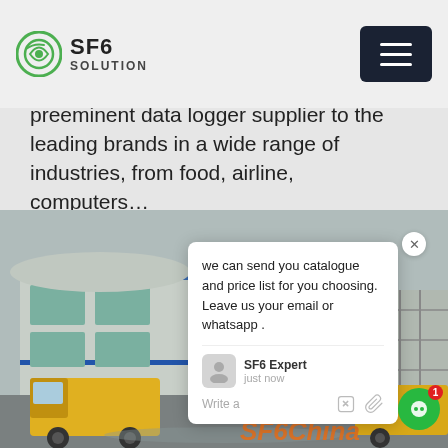SF6 SOLUTION
preeminent data logger supplier to the leading brands in a wide range of industries, from food, airline, computers…
[Figure (photo): Industrial factory/warehouse building exterior with yellow delivery trucks parked in front on a foggy/overcast day. SF6China watermark in orange in the bottom right corner. A chat popup overlay is visible showing: 'we can send you catalogue and price list for you choosing. Leave us your email or whatsapp .' with agent 'SF6 Expert' and timestamp 'just now'.]